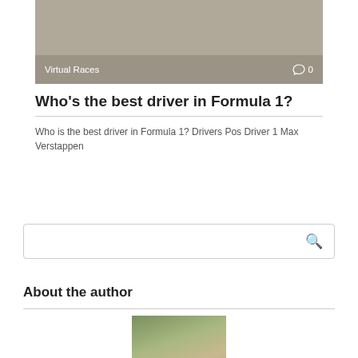[Figure (photo): Grayish-tan image banner at top with 'Virtual Races' tag and comment icon showing 0 comments]
Who's the best driver in Formula 1?
Who is the best driver in Formula 1? Drivers Pos Driver 1 Max Verstappen
Search box
About the author
[Figure (photo): Partial photo of a person's face/head, cropped at bottom of page]